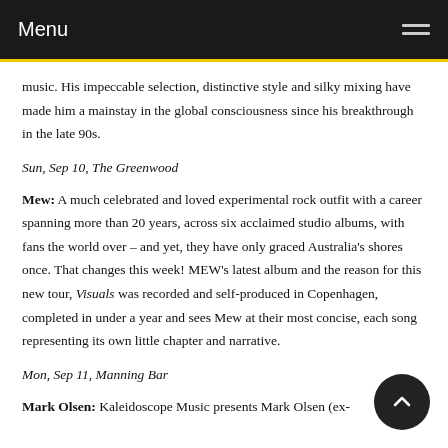Menu
music. His impeccable selection, distinctive style and silky mixing have made him a mainstay in the global consciousness since his breakthrough in the late 90s.
Sun, Sep 10, The Greenwood
Mew: A much celebrated and loved experimental rock outfit with a career spanning more than 20 years, across six acclaimed studio albums, with fans the world over – and yet, they have only graced Australia's shores once. That changes this week! MEW's latest album and the reason for this new tour, Visuals was recorded and self-produced in Copenhagen, completed in under a year and sees Mew at their most concise, each song representing its own little chapter and narrative.
Mon, Sep 11, Manning Bar
Mark Olsen: Kaleidoscope Music presents Mark Olsen (ex-